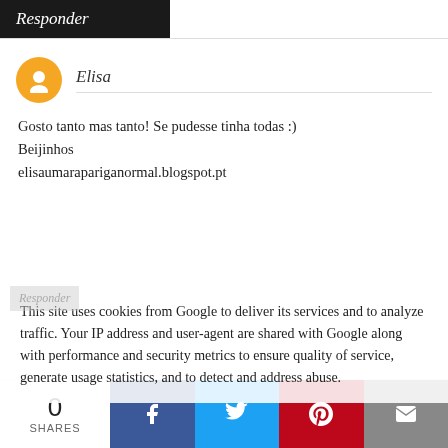Responder
Elisa
Gosto tanto mas tanto! Se pudesse tinha todas :)
Bejinhos
elisaumarapariganormal.blogspot.pt
This site uses cookies from Google to deliver its services and to analyze traffic. Your IP address and user-agent are shared with Google along with performance and security metrics to ensure quality of service, generate usage statistics, and to detect and address abuse.
0
SHARES